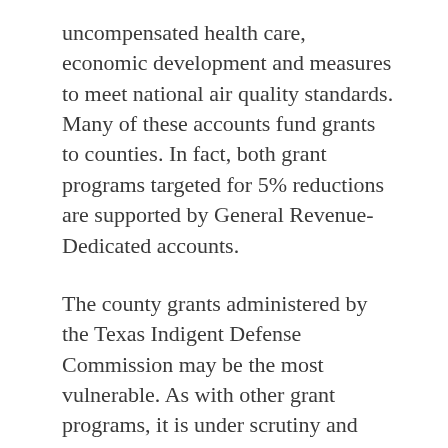uncompensated health care, economic development and measures to meet national air quality standards. Many of these accounts fund grants to counties. In fact, both grant programs targeted for 5% reductions are supported by General Revenue-Dedicated accounts.
The county grants administered by the Texas Indigent Defense Commission may be the most vulnerable. As with other grant programs, it is under scrutiny and could face additional cuts in the 2022-23 budget. A General Revenue-Dedicated account, the Fair Defense account, is the primary source of its funding. Roughly 90% of the account's revenue comes from court costs — a revenue source already on a downward trajectory, which the pandemic has accelerated. The unappropriated balance in the account used